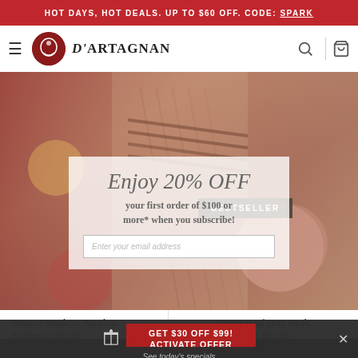HOT DAYS, HOT DEALS. UP TO $60 OFF. CODE: SPARK
[Figure (screenshot): D'Artagnan website navigation bar with hamburger menu, circular logo, brand name D'ARTAGNAN, search and cart icons]
[Figure (photo): Hero banner showing grilled meats, salami, vegetables on a cutting board background]
BESTSELLER
Enjoy 20% OFF
your first order of $100 or more* when you subscribe!
Enter your email address
Venison Striploin, Boneless
Wagyu Beef Strip Steak, Boneless
Starting at $61.99
Price $69.99
GET $30 OFF $99!
ACTIVATE OFFER
See today's specials